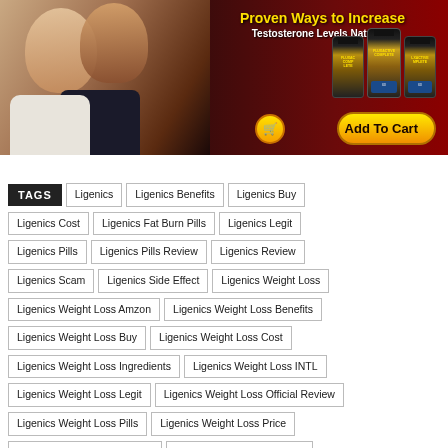[Figure (illustration): Advertisement banner showing a couple smiling together on the left, and three dark supplement bottles labeled FLUXACTIVE COMPLETE on the right, with yellow text 'Proven Ways to Increase Testosterone Levels Naturally' and a yellow Add To Cart button at the bottom right.]
TAGS
Ligenics
Ligenics Benefits
Ligenics Buy
Ligenics Cost
Ligenics Fat Burn Pills
Ligenics Legit
Ligenics Pills
Ligenics Pills Review
Ligenics Review
Ligenics Scam
Ligenics Side Effect
Ligenics Weight Loss
Ligenics Weight Loss Amzon
Ligenics Weight Loss Benefits
Ligenics Weight Loss Buy
Ligenics Weight Loss Cost
Ligenics Weight Loss Ingredients
Ligenics Weight Loss INTL
Ligenics Weight Loss Legit
Ligenics Weight Loss Official Review
Ligenics Weight Loss Pills
Ligenics Weight Loss Price
Ligenics Weight Loss Review
Ligenics Weight Loss Scam
Ligenics Weight Loss Side Effect
Ligenics Weight Loss US